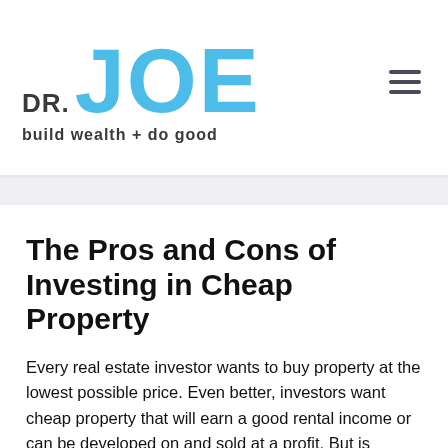[Figure (logo): DR. JOE logo in black and blue with tagline 'build wealth + do good']
The Pros and Cons of Investing in Cheap Property
Every real estate investor wants to buy property at the lowest possible price. Even better, investors want cheap property that will earn a good rental income or can be developed on and sold at a profit. But is buying cheap property really such a good investment?